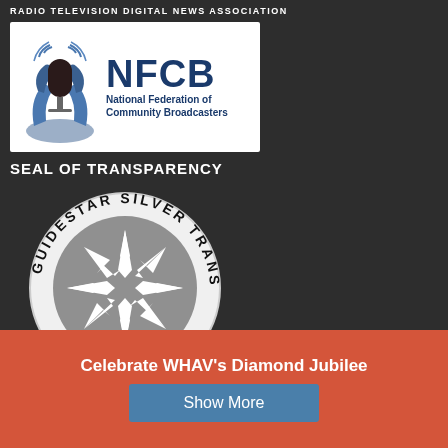RADIO TELEVISION DIGITAL NEWS ASSOCIATION
[Figure (logo): NFCB National Federation of Community Broadcasters logo with microphone and hands graphic]
SEAL OF TRANSPARENCY
[Figure (logo): GuideStar Silver Transparency seal - circular badge with star burst design and text 'GUIDESTAR SILVER TRANSPARENCY' around the edge]
Celebrate WHAV’s Diamond Jubilee
Show More